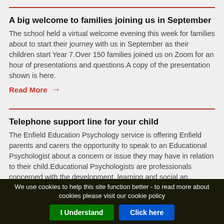A big welcome to families joining us in September
The school held a virtual welcome evening this week for families about to start their journey with us in September as their children start Year 7.Over 150 families joined us on Zoom for an hour of presentations and questions.A copy of the presentation shown is here.
Read More →
Telephone support line for your child
The Enfield Education Psychology service is offering Enfield parents and carers the opportunity to speak to an Educational Psychologist about a concern or issue they may have in relation to their child.Educational Psychologists are professionals concerned with the development, learning and social an...
We use cookies to help this site function better - to read more about cookies please visit our cookie policy | I Understand | Click here